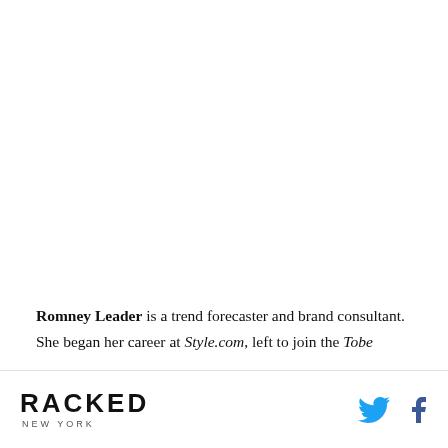Romney Leader is a trend forecaster and brand consultant. She began her career at Style.com, left to join the Tobe
RACKED NEW YORK